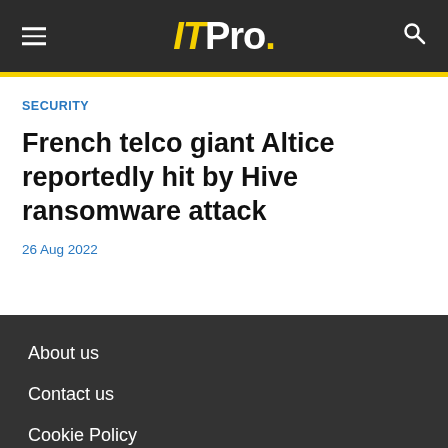ITPro.
SECURITY
French telco giant Altice reportedly hit by Hive ransomware attack
26 Aug 2022
About us
Contact us
Cookie Policy
Privacy Policy
Accessibility